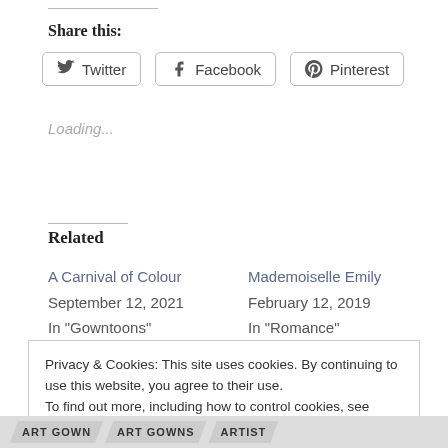Share this:
Twitter  Facebook  Pinterest
Loading...
Related
A Carnival of Colour
September 12, 2021
In "Gowntoons"
Mademoiselle Emily
February 12, 2019
In "Romance"
Privacy & Cookies: This site uses cookies. By continuing to use this website, you agree to their use.
To find out more, including how to control cookies, see here: Cookie Policy
Close and accept
ART GOWN  ART GOWNS  ARTIST